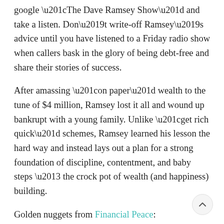google “The Dave Ramsey Show” and take a listen. Don’t write-off Ramsey’s advice until you have listened to a Friday radio show when callers bask in the glory of being debt-free and share their stories of success.
After amassing “on paper” wealth to the tune of $4 million, Ramsey lost it all and wound up bankrupt with a young family. Unlike “get rich quick” schemes, Ramsey learned his lesson the hard way and instead lays out a plan for a strong foundation of discipline, contentment, and baby steps – the crock pot of wealth (and happiness) building.
Golden nuggets from Financial Peace: